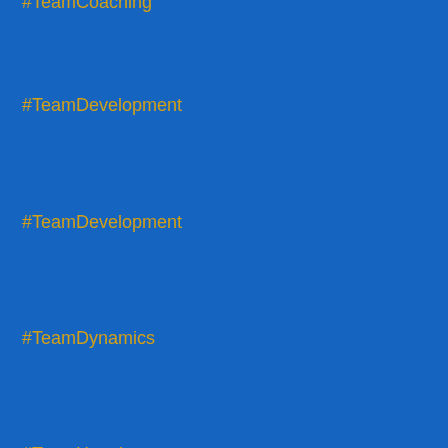#TeamCoaching
#TeamDevelopment
#TeamDevelopment
#TeamDynamics
#TeamHappiness
#TeamLeadership
#teamleadership
#TeamLeadership
#TeamPerformance
#TeamProductivity